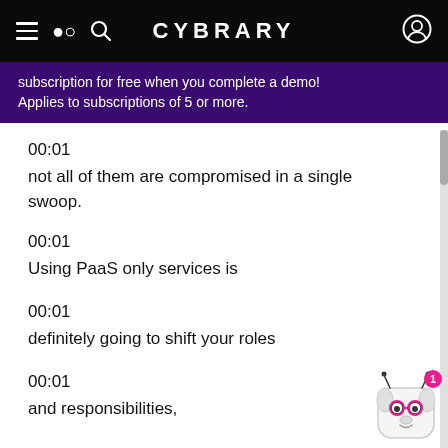CYBRARY
subscription for free when you complete a demo! Applies to subscriptions of 5 or more.
00:01
not all of them are compromised in a single swoop.
00:01
Using PaaS only services is
00:01
definitely going to shift your roles
00:01
and responsibilities,